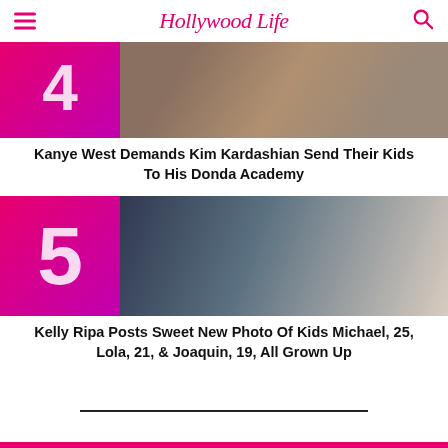Hollywood Life
[Figure (photo): Article item 4: pink/magenta number 4 on left, couple photo on right - related to Kanye West and Kim Kardashian story]
Kanye West Demands Kim Kardashian Send Their Kids To His Donda Academy
[Figure (photo): Article item 5: pink/magenta number 5 on left, family group photo on right - Kelly Ripa with husband Mark Consuelos and children Michael, Lola, and Joaquin]
Kelly Ripa Posts Sweet New Photo Of Kids Michael, 25, Lola, 21, & Joaquin, 19, All Grown Up